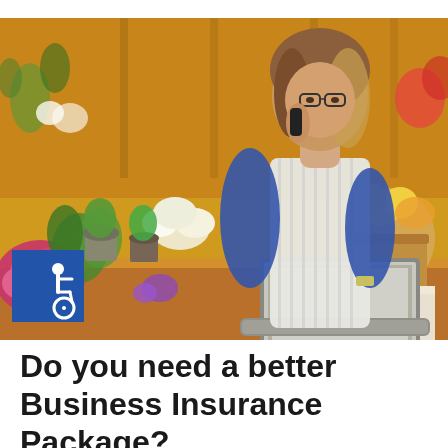[Figure (photo): A woman with glasses and long brown hair, wearing a blue long-sleeve shirt and white striped apron, talking on a phone while working on a laptop. She is surrounded by colorful flowers and plants in what appears to be a florist shop or garden store. A blue accessibility wheelchair icon badge is visible in the lower left of the image.]
Do you need a better Business Insurance Package?